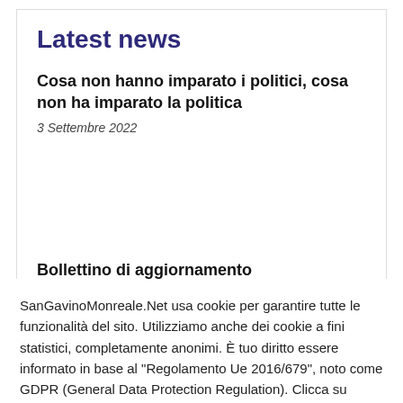Latest news
Cosa non hanno imparato i politici, cosa non ha imparato la politica
3 Settembre 2022
Bollettino di aggiornamento
SanGavinoMonreale.Net usa cookie per garantire tutte le funzionalità del sito. Utilizziamo anche dei cookie a fini statistici, completamente anonimi. È tuo diritto essere informato in base al "Regolamento Ue 2016/679", noto come GDPR (General Data Protection Regulation). Clicca su "Impostazioni" per consentire solo alcuni cookie.
Impostazioni
Accetta Tutto